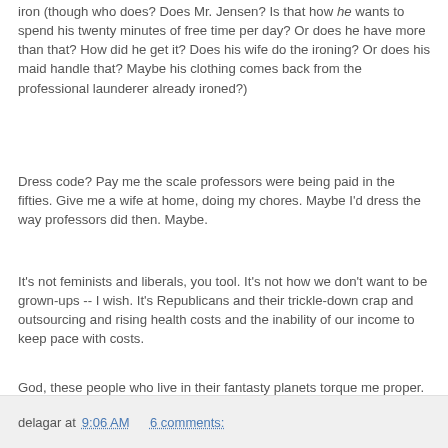iron (though who does? Does Mr. Jensen? Is that how he wants to spend his twenty minutes of free time per day? Or does he have more than that? How did he get it? Does his wife do the ironing? Or does his maid handle that? Maybe his clothing comes back from the professional launderer already ironed?)
Dress code? Pay me the scale professors were being paid in the fifties. Give me a wife at home, doing my chores. Maybe I'd dress the way professors did then. Maybe.
It's not feminists and liberals, you tool. It's not how we don't want to be grown-ups -- I wish. It's Republicans and their trickle-down crap and outsourcing and rising health costs and the inability of our income to keep pace with costs.
God, these people who live in their fantasty planets torque me proper.
delagar at 9:06 AM    6 comments: